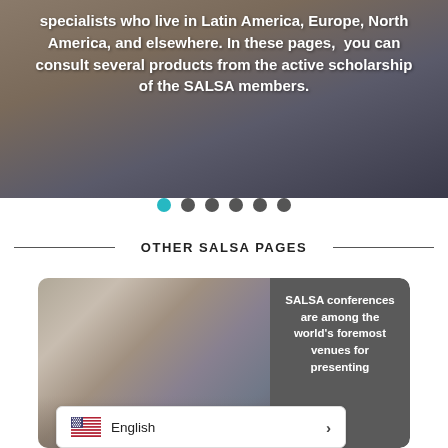[Figure (photo): Background photo of people with overlaid text about SALSA members and scholarship]
specialists who live in Latin America, Europe, North America, and elsewhere. In these pages,  you can consult several products from the active scholarship of the SALSA members.
[Figure (other): Carousel navigation dots — one teal/active dot followed by five dark gray dots]
OTHER SALSA PAGES
[Figure (photo): Card image showing a conference room with audience and the word CONFERENCES, next to a gray panel reading: SALSA conferences are among the world's foremost venues for presenting]
SALSA conferences are among the world's foremost venues for presenting
[Figure (other): Language selector bar showing US flag, English label, and a right-arrow chevron]